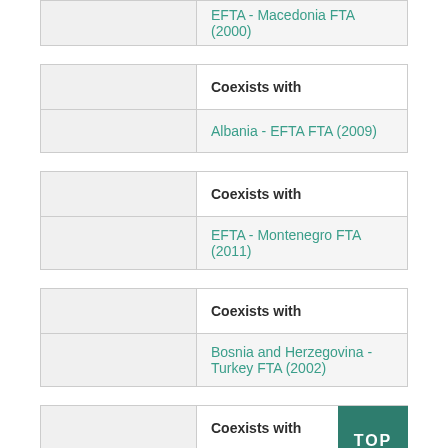|  |  |
| --- | --- |
|  | EFTA - Macedonia FTA (2000) |
|  | Coexists with |
| --- | --- |
|  | Albania - EFTA FTA (2009) |
|  | Coexists with |
| --- | --- |
|  | EFTA - Montenegro FTA (2011) |
|  | Coexists with |
| --- | --- |
|  | Bosnia and Herzegovina - Turkey FTA (2002) |
|  | Coexists with |
| --- | --- |
|  | Albania - Turkey FTA (2006) |